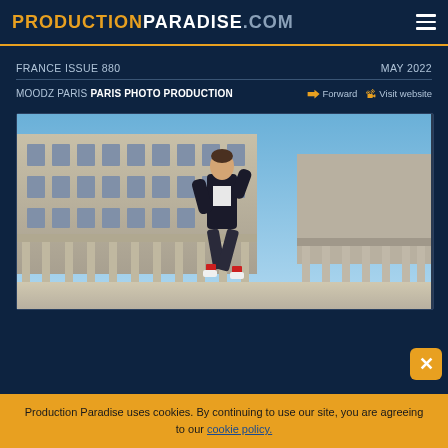PRODUCTIONPARADISE.COM
FRANCE ISSUE 880    MAY 2022
MOODZ PARIS PARIS PHOTO PRODUCTION    Forward    Visit website
[Figure (photo): Male model jumping/running in front of a French classical building with columns, wearing a dark suit with red socks and white shoes, clear blue sky, Palais-Royal Paris setting]
Production Paradise uses cookies. By continuing to use our site, you are agreeing to our cookie policy.